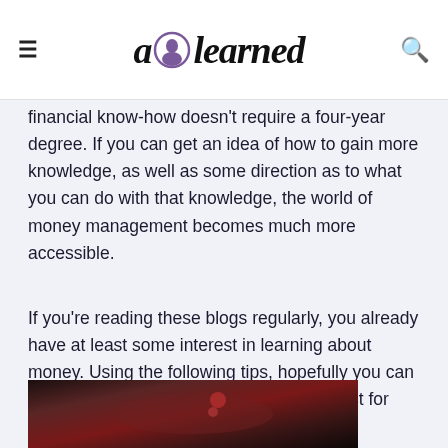a learned (logo)
financial know-how doesn't require a four-year degree. If you can get an idea of how to gain more knowledge, as well as some direction as to what you can do with that knowledge, the world of money management becomes much more accessible.
If you're reading these blogs regularly, you already have at least some interest in learning about money. Using the following tips, hopefully you can become even more dedicated in your quest for knowledge.
[Figure (photo): Partial photo of a person wearing dark clothing and a necklace, cropped at bottom of page]